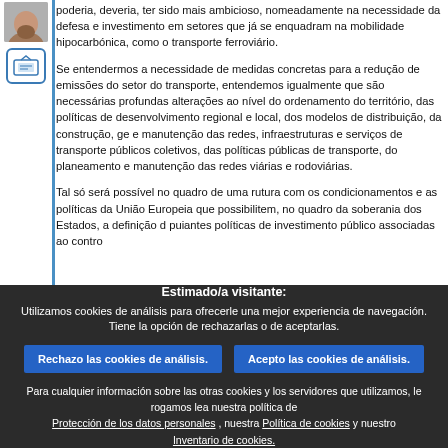[Figure (photo): Avatar photo of a person with a beard, partially visible, with a building/screen icon below]
poderia, deveria, ter sido mais ambicioso, nomeadamente na necessidade da defesa e investimento em setores que já se enquadram na mobilidade hipocarbónica, como o transporte ferroviário.
Se entendermos a necessidade de medidas concretas para a redução de emissões do setor do transporte, entendemos igualmente que são necessárias profundas alterações ao nível do ordenamento do território, das políticas de desenvolvimento regional e local, dos modelos de distribuição, da construção, ge e manutenção das redes, infraestruturas e serviços de transporte públicos coletivos, das políticas públicas de transporte, do planeamento e manutenção das redes viárias e rodoviárias.
Tal só será possível no quadro de uma rutura com os condicionamentos e as políticas da União Europeia que possibilitem, no quadro da soberania dos Estados, a definição de puiantes políticas de investimento público associadas ao contro...
Estimado/a visitante:
Utilizamos cookies de análisis para ofrecerle una mejor experiencia de navegación. Tiene la opción de rechazarlas o de aceptarlas.
Rechazo las cookies de análisis.
Acepto las cookies de análisis.
Para cualquier información sobre las otras cookies y los servidores que utilizamos, le rogamos lea nuestra política de Protección de los datos personales , nuestra Política de cookies y nuestro Inventario de cookies.